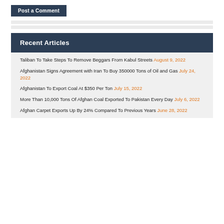Post a Comment
Recent Articles
Taliban To Take Steps To Remove Beggars From Kabul Streets August 9, 2022
Afghanistan Signs Agreement with Iran To Buy 350000 Tons of Oil and Gas July 24, 2022
Afghanistan To Export Coal At $350 Per Ton July 15, 2022
More Than 10,000 Tons Of Afghan Coal Exported To Pakistan Every Day July 6, 2022
Afghan Carpet Exports Up By 24% Compared To Previous Years June 28, 2022